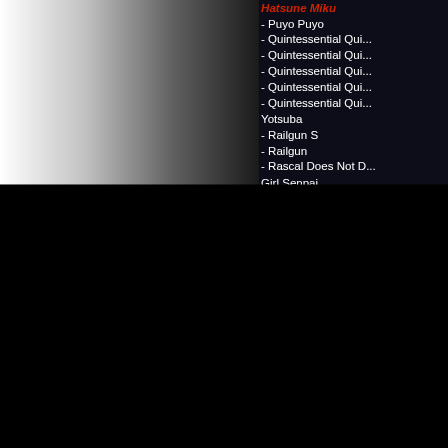Hatsune Miku
- Puyo Puyo
- Quintessential Qui...
- Quintessential Qui...
- Quintessential Qui...
- Quintessential Qui...
- Quintessential Qui... Yotsuba
- Railgun S
- Railgun
- Rascal Does Not Dream of Bunny Girl Senpai
- Re:Zero
- Rent-A-Girlfriend
- Revue Starlight
- Rewrite
- Robotics;Notes
- Saekano - How to Raise a Boring Girlfriend
- Sakura Wars
- Schoolgirl Strikers
- Sengoku Basara
- Shana
- Shining Force EXA
- Star Wars
- Steins;Gate
- Summer Pockets
- Sword Art Online